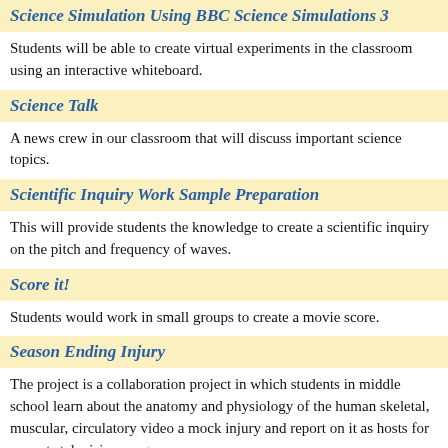Science Simulation Using BBC Science Simulations 3
Students will be able to create virtual experiments in the classroom using an interactive whiteboard.
Science Talk
A news crew in our classroom that will discuss important science topics.
Scientific Inquiry Work Sample Preparation
This will provide students the knowledge to create a scientific inquiry on the pitch and frequency of waves.
Score it!
Students would work in small groups to create a movie score.
Season Ending Injury
The project is a collaboration project in which students in middle school learn about the anatomy and physiology of the human skeletal, muscular, circulatory systems. Students video a mock injury and report on it as hosts for a sports television program.
Second Grade Science Textbooks
Second graders spend the year planning and making their own science textbooks.